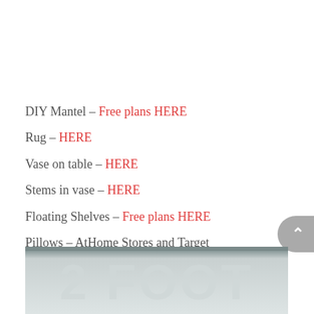DIY Mantel – Free plans HERE
Rug – HERE
Vase on table – HERE
Stems in vase – HERE
Floating Shelves – Free plans HERE
Pillows – AtHome Stores and Target
Feather prints on Wall – HERE
[Figure (photo): Bottom portion of a decorative image showing large stylized text in light gray tones, partially visible, on a gray background.]